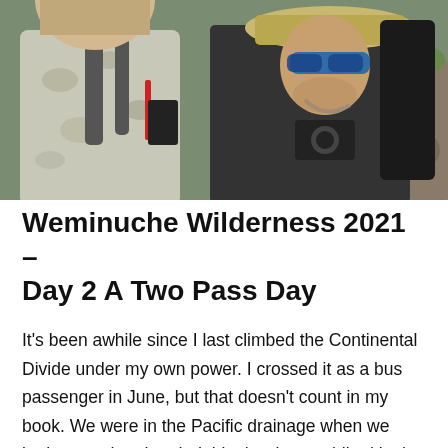[Figure (photo): Two hikers with backpacks outdoors in a wilderness area. The person on the left wears a camouflage shirt and large backpack. The person on the right wears sunglasses and a wide-brimmed hat with a camera around their neck. Rocky terrain and vegetation visible in background.]
Weminuche Wilderness 2021 – Day 2 A Two Pass Day
It's been awhile since I last climbed the Continental Divide under my own power. I crossed it as a bus passenger in June, but that doesn't count in my book. We were in the Pacific drainage when we both started and ended this day, but we hiked in the Atlantic drainage for a short while, which meant that we had two passes ahead of us. I can't find a name for the first pass, and maybe there is a